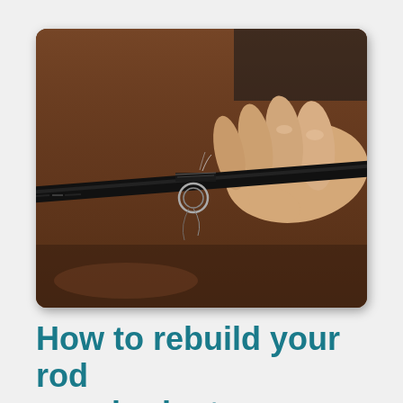[Figure (photo): Close-up photo of a hand holding a damaged fishing rod, showing a broken guide/ring on the rod blank. The rod is dark/black with thread wrapping visible, and a small metal ring is loose. Background is a warm brown wooden surface.]
How to rebuild your rod on a budget.
By Leo Toms On February 26, 2015 · 3 Comments · In Tips